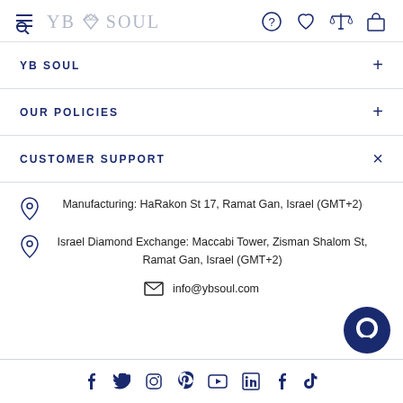YB SOUL
YB SOUL
OUR POLICIES
CUSTOMER SUPPORT
Manufacturing: HaRakon St 17, Ramat Gan, Israel (GMT+2)
Israel Diamond Exchange: Maccabi Tower, Zisman Shalom St, Ramat Gan, Israel (GMT+2)
info@ybsoul.com
Social media icons: Facebook, Twitter, Instagram, Pinterest, YouTube, LinkedIn, Facebook, TikTok